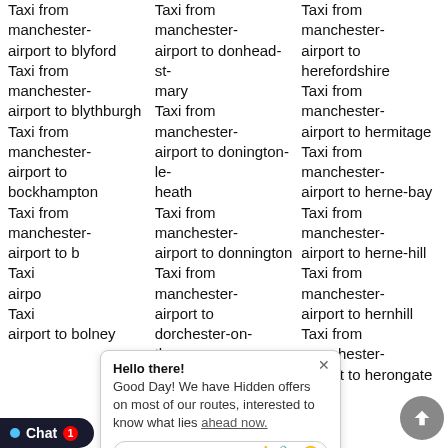airport to blyford
Taxi from manchester-airport to blythburgh
Taxi from manchester-airport to bockhampton
Taxi from manchester-airport to bolney
airport to donhead-st-mary
Taxi from manchester-airport to donington-le-heath
Taxi from manchester-airport to donnington
Taxi from manchester-airport to dorchester-on-thames
Taxi from manchester-
airport to herefordshire
Taxi from manchester-airport to hermitage
Taxi from manchester-airport to herne-bay
Taxi from manchester-airport to herne-hill
Taxi from manchester-airport to hernhill
Taxi from manchester-airport to herongate